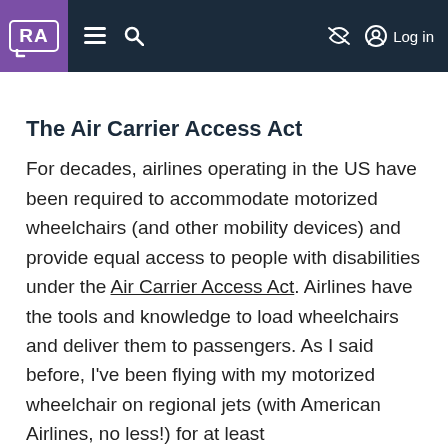RA [logo] | menu | search | [accessibility icon] | Log in
The Air Carrier Access Act
For decades, airlines operating in the US have been required to accommodate motorized wheelchairs (and other mobility devices) and provide equal access to people with disabilities under the Air Carrier Access Act. Airlines have the tools and knowledge to load wheelchairs and deliver them to passengers. As I said before, I've been flying with my motorized wheelchair on regional jets (with American Airlines, no less!) for at least